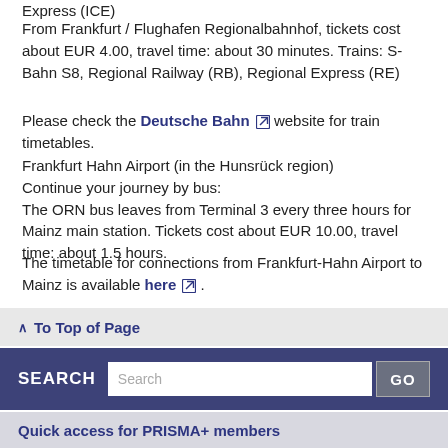Express (ICE)
From Frankfurt / Flughafen Regionalbahnhof, tickets cost about EUR 4.00, travel time: about 30 minutes. Trains: S-Bahn S8, Regional Railway (RB), Regional Express (RE)
Please check the Deutsche Bahn website for train timetables.
Frankfurt Hahn Airport (in the Hunsrück region)
Continue your journey by bus:
The ORN bus leaves from Terminal 3 every three hours for Mainz main station. Tickets cost about EUR 10.00, travel time: about 1.5 hours.
The timetable for connections from Frankfurt-Hahn Airport to Mainz is available here.
↑ To Top of Page
SEARCH  GO
Quick access for PRISMA+ members